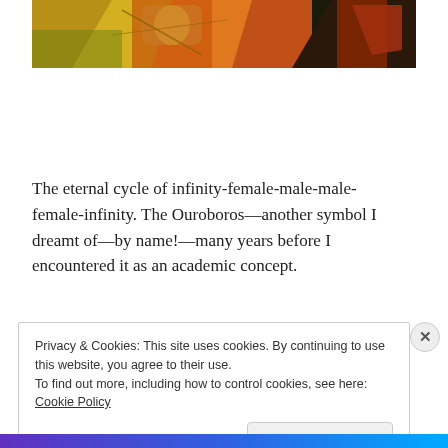[Figure (illustration): Partial view of a colorful stylized illustration with yellow, orange, red, and dark tones showing abstract or mythological figures]
The eternal cycle of infinity-female-male-male-female-infinity. The Ouroboros—another symbol I dreamt of—by name!—many years before I encountered it as an academic concept.
Privacy & Cookies: This site uses cookies. By continuing to use this website, you agree to their use.
To find out more, including how to control cookies, see here: Cookie Policy
Close and accept